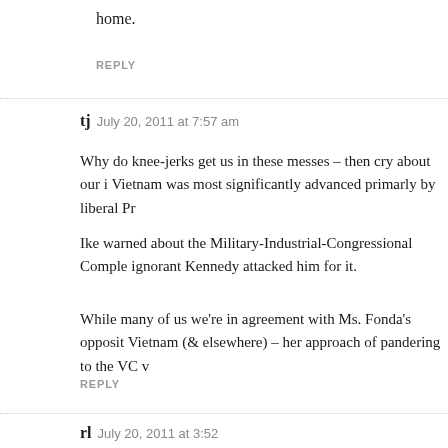home.
REPLY
tj   July 20, 2011 at 7:57 am
Why do knee-jerks get us in these messes – then cry about our i Vietnam was most significantly advanced primarly by liberal Pr
Ike warned about the Military-Industrial-Congressional Comple ignorant Kennedy attacked him for it.
While many of us we're in agreement with Ms. Fonda's opposit Vietnam (& elsewhere) – her approach of pandering to the VC v
REPLY
rl   July 20, 2011 at 3:52